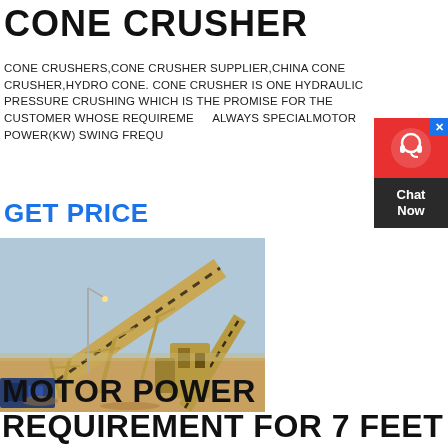CONE CRUSHER
CONE CRUSHERS,CONE CRUSHER SUPPLIER,CHINA CONE CRUSHER,HYDRO CONE. CONE CRUSHER IS ONE HYDRAULIC PRESSURE CRUSHING WHICH IS THE PROMISE FOR THE CUSTOMER WHOSE REQUIREMENTS ALWAYS SPECIALMOTOR POWER(KW) SWING FREQUENCY
GET PRICE
[Figure (photo): Industrial conveyor belt and crushing equipment setup at a mining or quarrying site with yellow machinery against a pale blue sky backdrop.]
MOTOR POWER REQUIREMENT FOR 7 FEET